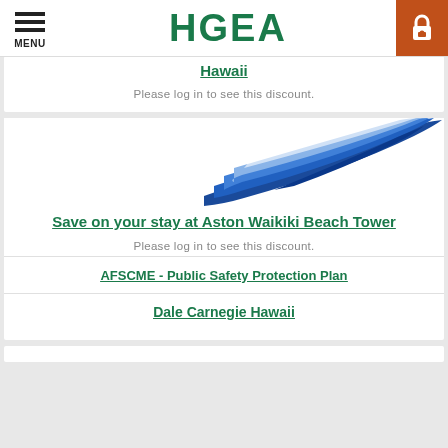HGEA — MENU / Lock
Hawaii
Please log in to see this discount.
[Figure (logo): Aston Hotels swoosh logo — blue curved streaks forming a wing/swoosh shape on white background]
Save on your stay at Aston Waikiki Beach Tower
Please log in to see this discount.
AFSCME - Public Safety Protection Plan
Dale Carnegie Hawaii